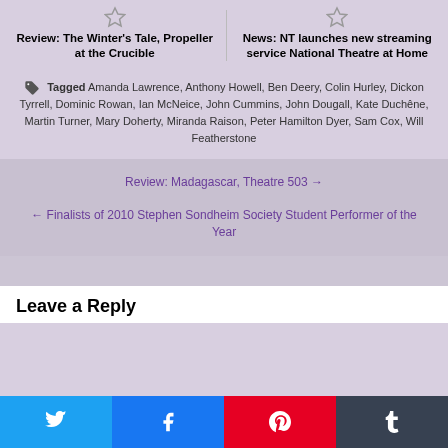Review: The Winter's Tale, Propeller at the Crucible
News: NT launches new streaming service National Theatre at Home
Tagged Amanda Lawrence, Anthony Howell, Ben Deery, Colin Hurley, Dickon Tyrrell, Dominic Rowan, Ian McNeice, John Cummins, John Dougall, Kate Duchêne, Martin Turner, Mary Doherty, Miranda Raison, Peter Hamilton Dyer, Sam Cox, Will Featherstone
Review: Madagascar, Theatre 503 →
← Finalists of 2010 Stephen Sondheim Society Student Performer of the Year
Leave a Reply
[Figure (other): Social share buttons: Twitter, Facebook, Pinterest, Tumblr]